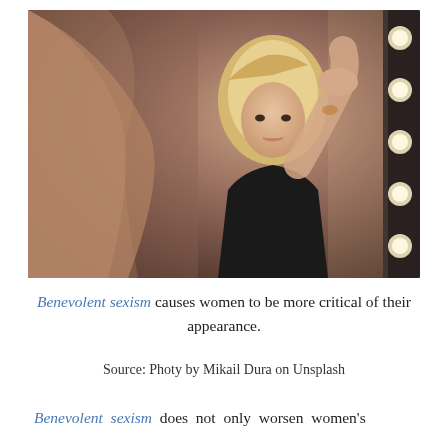[Figure (photo): A young blonde woman in a black outfit photographed in a mirror with vanity lights on the right side, in a dressing room setting. Her reflection and arm are visible in the mirror.]
Benevolent sexism causes women to be more critical of their appearance.
Source: Photy by Mikail Dura on Unsplash
Benevolent sexism does not only worsen women's